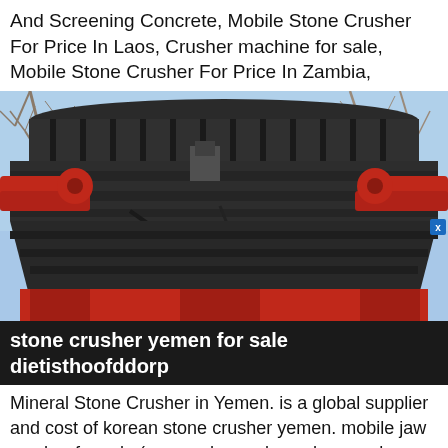And Screening Concrete, Mobile Stone Crusher For Price In Laos, Crusher machine for sale, Mobile Stone Crusher For Price In Zambia,
[Figure (photo): Close-up photograph of a large cone crusher or gyratory crusher machine with dark grey metallic ribbed crushing mantle and red metal frame/arms, photographed outdoors with bare winter trees and blue sky in the background.]
stone crusher yemen for sale dietisthoofddorp
Mineral Stone Crusher in Yemen. is a global supplier and cost of korean stone crusher yemen. mobile jaw crusher for sale (ore crusher,rock crusher used mobile crusher